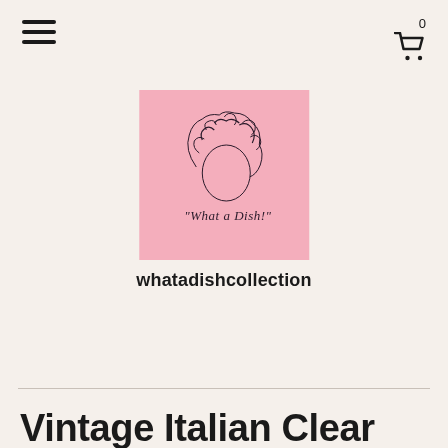≡  0 🛒
[Figure (logo): Pink square logo with a hand-drawn woman's face with curly hair and cursive text reading 'What a Dish!']
whatadishcollection
Vintage Italian Clear Glass Vase with Frosted banding and Banding in Gold